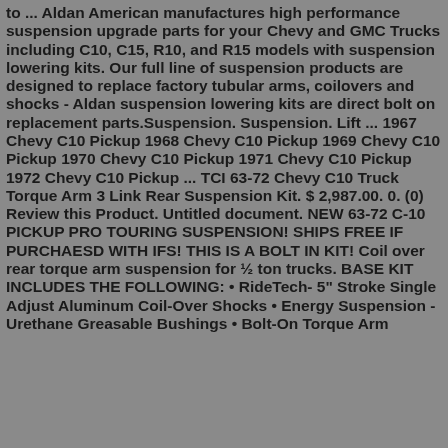to ... Aldan American manufactures high performance suspension upgrade parts for your Chevy and GMC Trucks including C10, C15, R10, and R15 models with suspension lowering kits. Our full line of suspension products are designed to replace factory tubular arms, coilovers and shocks - Aldan suspension lowering kits are direct bolt on replacement parts.Suspension. Suspension. Lift ... 1967 Chevy C10 Pickup 1968 Chevy C10 Pickup 1969 Chevy C10 Pickup 1970 Chevy C10 Pickup 1971 Chevy C10 Pickup 1972 Chevy C10 Pickup ... TCI 63-72 Chevy C10 Truck Torque Arm 3 Link Rear Suspension Kit. $ 2,987.00. 0. (0) Review this Product. Untitled document. NEW 63-72 C-10 PICKUP PRO TOURING SUSPENSION! SHIPS FREE IF PURCHAESD WITH IFS! THIS IS A BOLT IN KIT! Coil over rear torque arm suspension for ½ ton trucks. BASE KIT INCLUDES THE FOLLOWING: • RideTech- 5" Stroke Single Adjust Aluminum Coil-Over Shocks • Energy Suspension - Urethane Greasable Bushings • Bolt-On Torque Arm